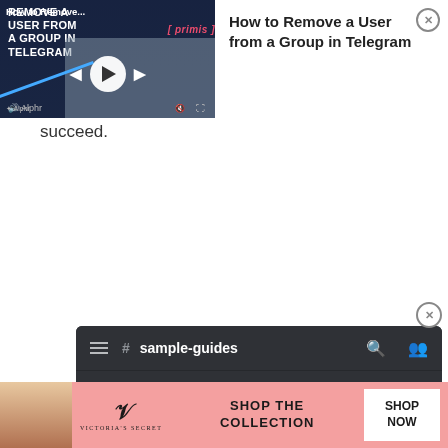[Figure (screenshot): Video ad banner showing 'How to Remove a User from a Group in Telegram' with Primis branding and play controls on left, text title and close X on right]
succeed.
[Figure (screenshot): Discord app screenshot showing sample-guides channel header with hamburger menu, search, and members icons; channel intro text 'This is the beginning of this server. Here are some steps to help you get started. For more, check out our Getting Started guide.' with two checklist cards: 'Invite your friends' (checked green) and 'Personalize your server' (with arrow)]
[Figure (screenshot): Victoria's Secret advertisement banner with pink background, woman photo, VS logo, 'SHOP THE COLLECTION' text, and 'SHOP NOW' white button]